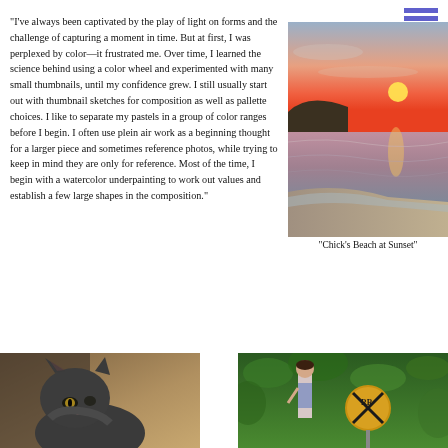"I've always been captivated by the play of light on forms and the challenge of capturing a moment in time. But at first, I was perplexed by color—it frustrated me. Over time, I learned the science behind using a color wheel and experimented with many small thumbnails, until my confidence grew. I still usually start out with thumbnail sketches for composition as well as pallette choices. I like to separate my pastels in a group of color ranges before I begin. I often use plein air work as a beginning thought for a larger piece and sometimes reference photos, while trying to keep in mind they are only for reference. Most of the time, I begin with a watercolor underpainting to work out values and establish a few large shapes in the composition."
[Figure (photo): Painting of a beach at sunset with pink and orange sky, sun reflecting on wet sand along the shoreline]
"Chick's Beach at Sunset"
[Figure (photo): Painting of a dark grey cat looking upward against a warm tan background]
[Figure (photo): Painting of a girl standing near a yellow railroad crossing sign surrounded by green foliage]